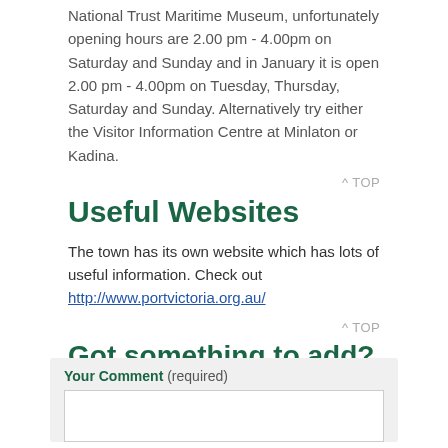National Trust Maritime Museum, unfortunately opening hours are 2.00 pm - 4.00pm on Saturday and Sunday and in January it is open 2.00 pm - 4.00pm on Tuesday, Thursday, Saturday and Sunday. Alternatively try either the Visitor Information Centre at Minlaton or Kadina.
^ TOP
Useful Websites
The town has its own website which has lots of useful information. Check out http://www.portvictoria.org.au/
^ TOP
Got something to add?
Have we missed something or got a top tip for this town? Have your say below.
Your Comment (required)